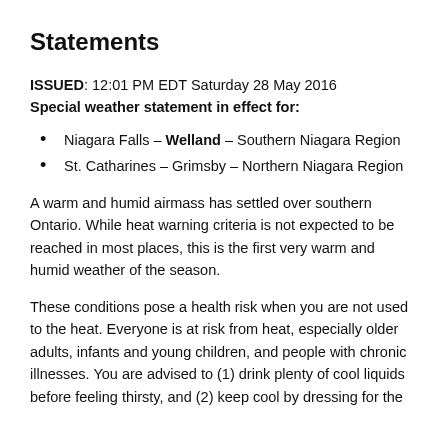Statements
ISSUED: 12:01 PM EDT Saturday 28 May 2016
Special weather statement in effect for:
Niagara Falls – Welland – Southern Niagara Region
St. Catharines – Grimsby – Northern Niagara Region
A warm and humid airmass has settled over southern Ontario. While heat warning criteria is not expected to be reached in most places, this is the first very warm and humid weather of the season.
These conditions pose a health risk when you are not used to the heat. Everyone is at risk from heat, especially older adults, infants and young children, and people with chronic illnesses. You are advised to (1) drink plenty of cool liquids before feeling thirsty, and (2) keep cool by dressing for the